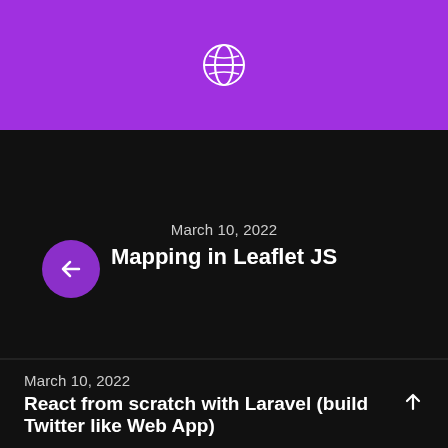[Figure (logo): Purple header bar with white globe/world icon in the center]
March 10, 2022
Mapping in Leaflet JS
[Figure (other): Purple circular back arrow button]
March 10, 2022
React from scratch with Laravel (build Twitter like Web App)